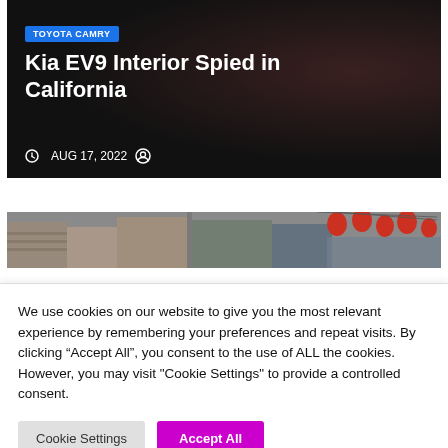[Figure (photo): Dark car interior photo showing steering wheel details, used as background for article card]
TOYOTA CAMRY
Kia EV9 Interior Spied in California
AUG 17, 2022
[Figure (photo): Street scene with colorful red lanterns and buildings, partially visible as strip]
We use cookies on our website to give you the most relevant experience by remembering your preferences and repeat visits. By clicking “Accept All”, you consent to the use of ALL the cookies. However, you may visit "Cookie Settings" to provide a controlled consent.
Cookie Settings
Accept All